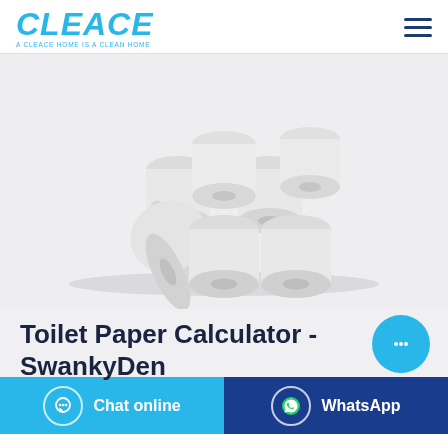CLEACE — A CLEACE HOME IS A CLEAN HOME
[Figure (photo): Several rolls of white toilet paper arranged in a group on a white background]
Toilet Paper Calculator - SwankyDen
Chat online
WhatsApp